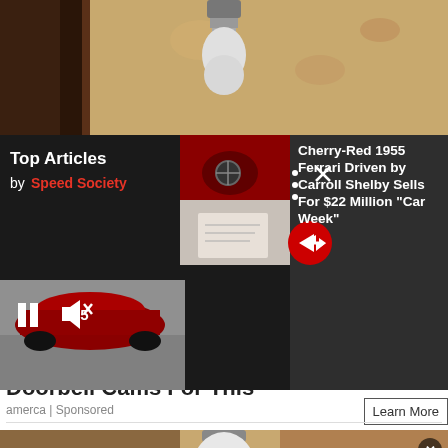[Figure (photo): Top portion of a webpage showing a smart light bulb against a textured wall background]
[Figure (screenshot): Top Articles overlay widget from Speed Society showing a Cherry-Red 1955 Ferrari article, with thumbnail images of the red Ferrari interior and a document, pause/mute controls, three-dots and close (X) controls, and a red arrow navigation button]
Homeowners Are Trading In Their Doorbell Cams For This
amerca | Sponsored
Learn More
[Figure (photo): Hand holding a white smart light bulb against a beige/tan background, with a circular X close button in the bottom right]